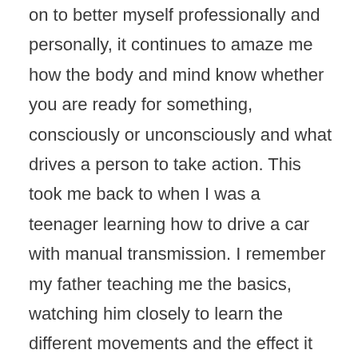on to better myself professionally and personally, it continues to amaze me how the body and mind know whether you are ready for something, consciously or unconsciously and what drives a person to take action. This took me back to when I was a teenager learning how to drive a car with manual transmission. I remember my father teaching me the basics, watching him closely to learn the different movements and the effect it had on the car. When he finally became comfortable with the idea of me behind the wheel, he started me out slowly, and we practiced in a parking lot where I